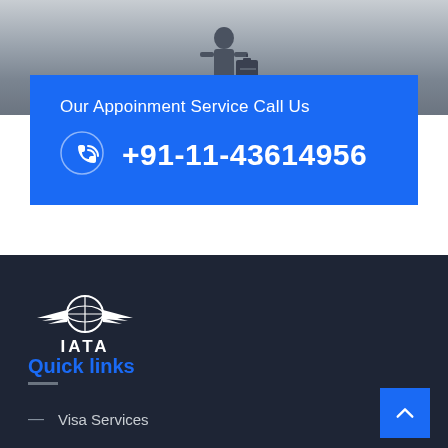[Figure (photo): Person with luggage at airport, upper portion of silhouette visible]
Our Appoinment Service Call Us
+91-11-43614956
[Figure (logo): IATA logo with globe and wings emblem and IATA text]
Quick links
Visa Services